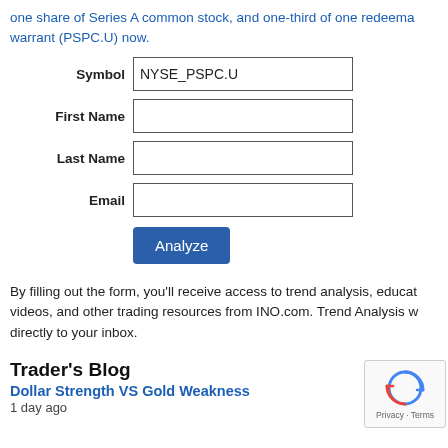one share of Series A common stock, and one-third of one redeemable warrant (PSPC.U) now.
Symbol: NYSE_PSPC.U
First Name: [input]
Last Name: [input]
Email: [input]
Analyze [button]
By filling out the form, you'll receive access to trend analysis, educational videos, and other trading resources from INO.com. Trend Analysis will be sent directly to your inbox.
Trader's Blog
Dollar Strength VS Gold Weakness
1 day ago